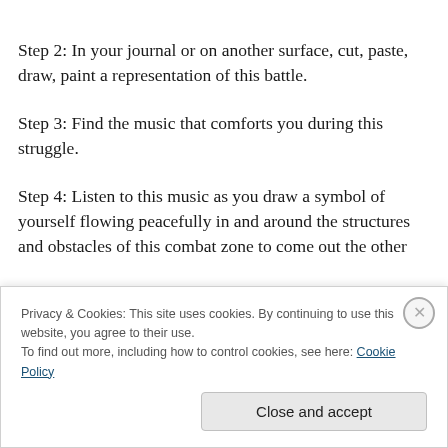Step 2: In your journal or on another surface, cut, paste, draw, paint a representation of this battle.
Step 3: Find the music that comforts you during this struggle.
Step 4: Listen to this music as you draw a symbol of yourself flowing peacefully in and around the structures and obstacles of this combat zone to come out the other
Privacy & Cookies: This site uses cookies. By continuing to use this website, you agree to their use.
To find out more, including how to control cookies, see here: Cookie Policy
Close and accept